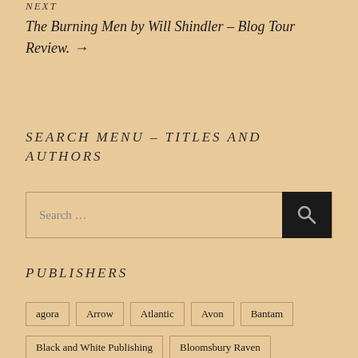NEXT
The Burning Men by Will Shindler – Blog Tour Review. →
SEARCH MENU – TITLES AND AUTHORS
[Figure (other): Search input box with search button on the right]
PUBLISHERS
agora
Arrow
Atlantic
Avon
Bantam
Black and White Publishing
Bloomsbury Raven